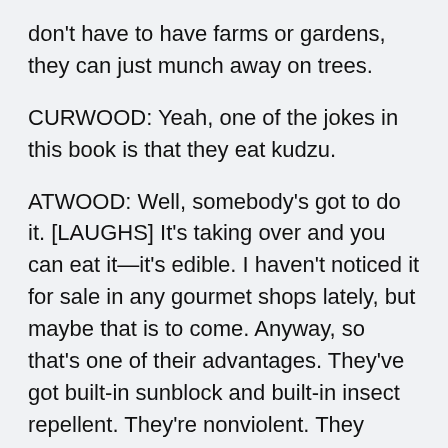don't have to have farms or gardens, they can just munch away on trees.
CURWOOD: Yeah, one of the jokes in this book is that they eat kudzu.
ATWOOD: Well, somebody's got to do it. [LAUGHS] It's taking over and you can eat it—it's edible. I haven't noticed it for sale in any gourmet shops lately, but maybe that is to come. Anyway, so that's one of their advantages. They've got built-in sunblock and built-in insect repellent. They're nonviolent. They wouldn't be able to understand the concept of a war. They just wouldn't understand why people would be doing that, but maybe best of all they will never suffer from romantic rejection because, unlike ourselves, but like a lot of other mammals, they mate seasonally. And just to be more